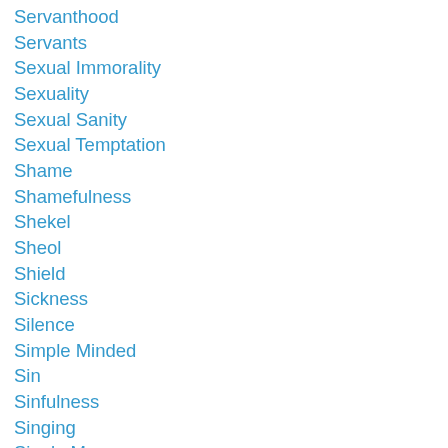Servanthood
Servants
Sexual Immorality
Sexuality
Sexual Sanity
Sexual Temptation
Shame
Shamefulness
Shekel
Sheol
Shield
Sickness
Silence
Simple Minded
Sin
Sinfulness
Singing
Single Moms
Skill
Slander
Slaughter